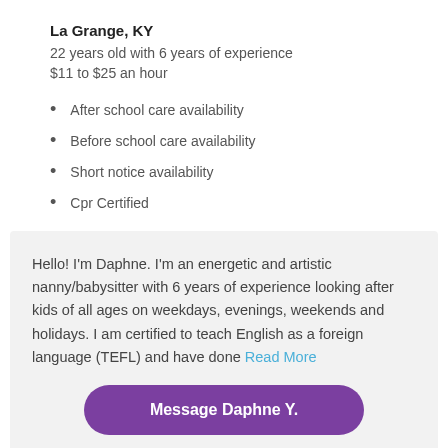La Grange, KY
22 years old with 6 years of experience
$11 to $25 an hour
After school care availability
Before school care availability
Short notice availability
Cpr Certified
Hello! I'm Daphne. I'm an energetic and artistic nanny/babysitter with 6 years of experience looking after kids of all ages on weekdays, evenings, weekends and holidays. I am certified to teach English as a foreign language (TEFL) and have done Read More
Message Daphne Y.